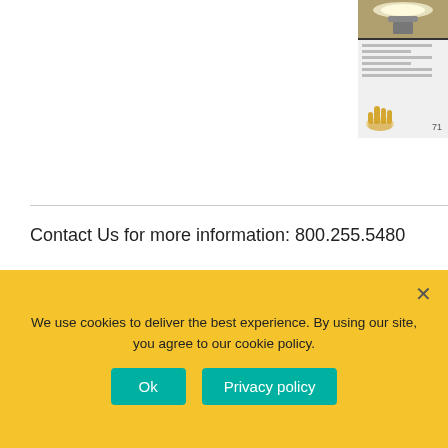[Figure (photo): Thumbnail photo of a light fixture or lamp emitting white light]
[Figure (illustration): Document thumbnail with horizontal lines and a hand/glove icon and page number]
Contact Us for more information: 800.255.5480
Product Overview
Tillman® Top Grain Goatskin Unlined Glide Patch TIG Glove
We use cookies to deliver the best experience. By using our site, you agree to our cookie policy.